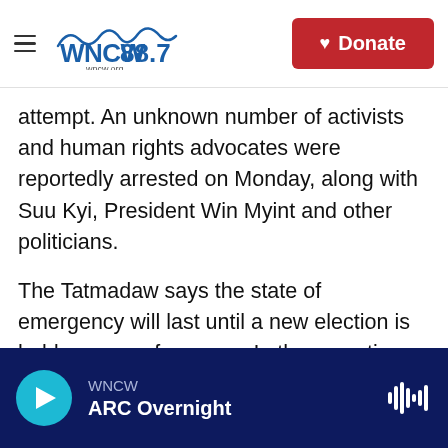WNCW 88.7 | wncw.org | Donate
attempt. An unknown number of activists and human rights advocates were reportedly arrested on Monday, along with Suu Kyi, President Win Myint and other politicians.
The Tatmadaw says the state of emergency will last until a new election is held one year from now. In the meantime, it has installed Commander in Chief Min Aung Hlaing in power.
In a letter published on an official NLD Facebook page that is attributed to Suu Kyi, she told Myanmar's public to "protest against the coup,"
WNCW — ARC Overnight